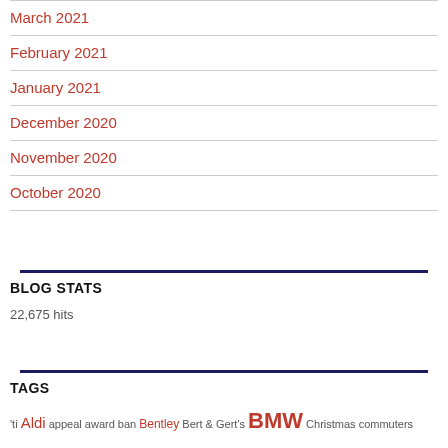March 2021
February 2021
January 2021
December 2020
November 2020
October 2020
BLOG STATS
22,675 hits
TAGS
'ti Aldi appeal award ban Bentley Bert & Gert's BMW Christmas commuters